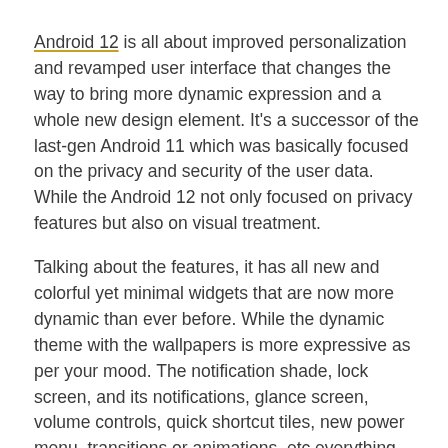Android 12 is all about improved personalization and revamped user interface that changes the way to bring more dynamic expression and a whole new design element. It's a successor of the last-gen Android 11 which was basically focused on the privacy and security of the user data. While the Android 12 not only focused on privacy features but also on visual treatment.
Talking about the features, it has all new and colorful yet minimal widgets that are now more dynamic than ever before. While the dynamic theme with the wallpapers is more expressive as per your mood. The notification shade, lock screen, and its notifications, glance screen, volume controls, quick shortcut tiles, new power menu, transitions or animations, etc everything looks & feels great whatsoever with ‘Material You’ design.